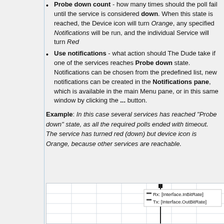Probe down count - how many times should the poll fail until the service is considered down. When this state is reached, the Device icon will turn Orange, any specified Notifications will be run, and the individual Service will turn Red
Use notifications - what action should The Dude take if one of the services reaches Probe down state. Notifications can be chosen from the predefined list, new notifications can be created in the Notifications pane, which is available in the main Menu pane, or in this same window by clicking the ... button.
Example: In this case several services has reached "Probe down" state, as all the required polls ended with timeout. The service has turned red (down) but device icon is Orange, because other services are reachable.
[Figure (screenshot): A network chart/graph screenshot showing Rx: [Interface.InBitRate] and Tx: [Interface.OutBitRate] with gridlines and a data spike indicator]